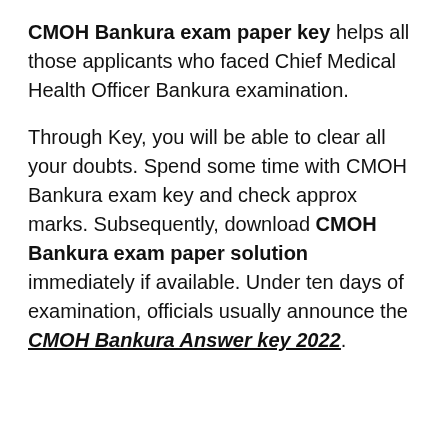CMOH Bankura exam paper key helps all those applicants who faced Chief Medical Health Officer Bankura examination.
Through Key, you will be able to clear all your doubts. Spend some time with CMOH Bankura exam key and check approx marks. Subsequently, download CMOH Bankura exam paper solution immediately if available. Under ten days of examination, officials usually announce the CMOH Bankura Answer key 2022.